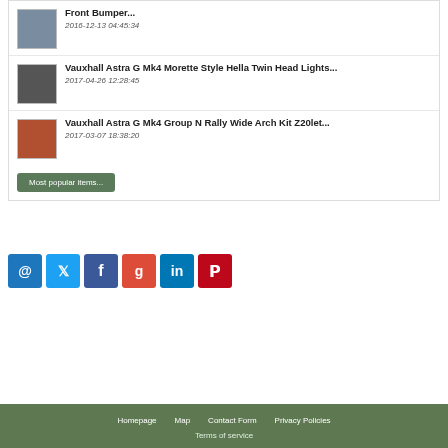Front Bumper... 2016-12-13 04:45:34
Vauxhall Astra G Mk4 Morette Style Hella Twin Head Lights... 2017-04-26 12:28:45
Vauxhall Astra G Mk4 Group N Rally Wide Arch Kit Z20let... 2017-03-07 18:38:20
Most popular items...
[Figure (other): Social media icon buttons: email (@), Twitter, Facebook, Google+, LinkedIn, Pinterest]
Homepage   Map   Contact Form   Privacy Policies   Terms of service